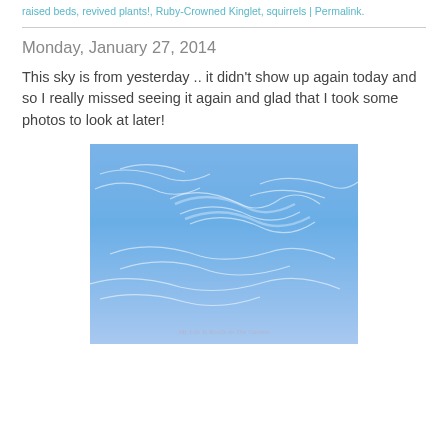raised beds, revived plants!, Ruby-Crowned Kinglet, squirrels | Permalink.
Monday, January 27, 2014
This sky is from yesterday .. it didn't show up again today and so I really missed seeing it again and glad that I took some photos to look at later!
[Figure (photo): Blue sky with wispy white cirrus clouds and a watermark reading 'My Life Is Really In The Garden']